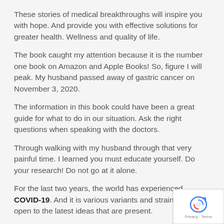These stories of medical breakthroughs will inspire you with hope. And provide you with effective solutions for greater health. Wellness and quality of life.
The book caught my attention because it is the number one book on Amazon and Apple Books! So, figure I will peak. My husband passed away of gastric cancer on November 3, 2020.
The information in this book could have been a great guide for what to do in our situation. Ask the right questions when speaking with the doctors.
Through walking with my husband through that very painful time. I learned you must educate yourself. Do your research! Do not go at it alone.
For the last two years, the world has experienced COVID-19. And it is various variants and strains. I am open to the latest ideas that are present.
[Figure (logo): reCAPTCHA logo with Privacy and Terms links]